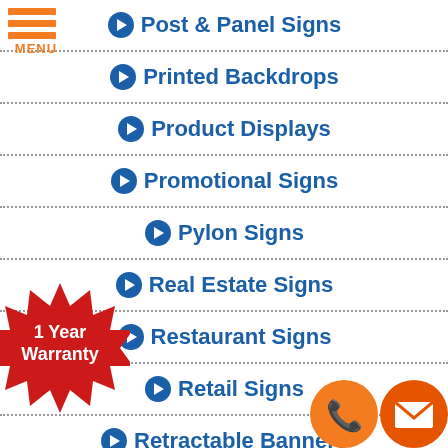[Figure (other): Hamburger menu icon with orange bars and MENU text in orange]
Post & Panel Signs
Printed Backdrops
Product Displays
Promotional Signs
Pylon Signs
Real Estate Signs
Restaurant Signs
Retail Signs
Retractable Banners
[Figure (other): Red starburst badge with '1 Year Warranty' text in white]
[Figure (other): Orange phone button circle icon]
[Figure (other): Dark orange envelope/mail button circle icon]